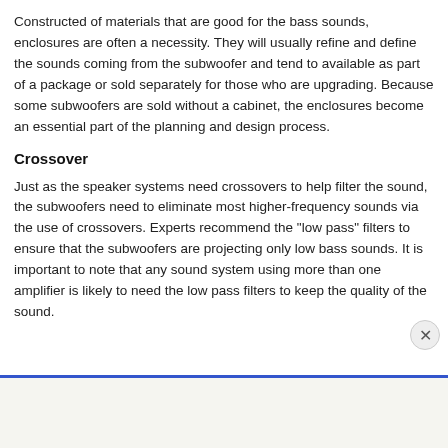Constructed of materials that are good for the bass sounds, enclosures are often a necessity. They will usually refine and define the sounds coming from the subwoofer and tend to available as part of a package or sold separately for those who are upgrading. Because some subwoofers are sold without a cabinet, the enclosures become an essential part of the planning and design process.
Crossover
Just as the speaker systems need crossovers to help filter the sound, the subwoofers need to eliminate most higher-frequency sounds via the use of crossovers. Experts recommend the "low pass" filters to ensure that the subwoofers are projecting only low bass sounds. It is important to note that any sound system using more than one amplifier is likely to need the low pass filters to keep the quality of the sound.
[Figure (other): Advertisement banner with text 'onSECURED.' in bold with blue colored 'SECURED.' portion, and a photo of a person on the right side.]